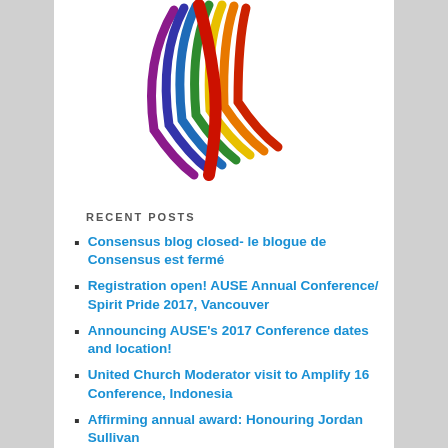[Figure (logo): Rainbow-colored ribbon/feather logo with multiple curved colored bands (red, orange, yellow, green, blue, indigo, violet) arranged in a fan/headdress shape with a red cross/stripe element.]
RECENT POSTS
Consensus blog closed- le blogue de Consensus est fermé
Registration open! AUSE Annual Conference/ Spirit Pride 2017, Vancouver
Announcing AUSE's 2017 Conference dates and location!
United Church Moderator visit to Amplify 16 Conference, Indonesia
Affirming annual award: Honouring Jordan Sullivan